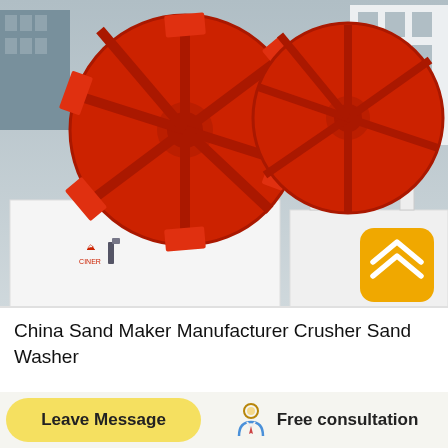[Figure (photo): Large red sand washer wheel machines with white base troughs, photographed outdoors. Two prominent red wheel assemblies with structural spokes and curved scoops. White machine bases show Chinese branding/logo markings. A yellow rounded-square app icon with a white upward-pointing double chevron is overlaid in the lower-right corner of the photo.]
China Sand Maker Manufacturer Crusher Sand Washer
Leave Message
Free consultation